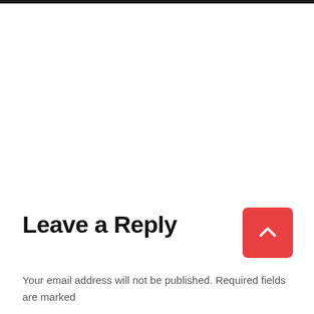Leave a Reply
Your email address will not be published. Required fields are marked
[Figure (other): Red square button with white upward-pointing chevron arrow, used as a back-to-top navigation button]